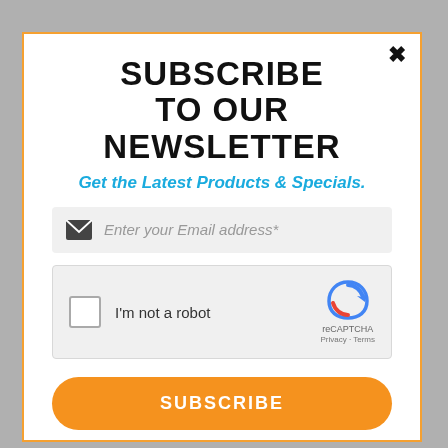SUBSCRIBE TO OUR NEWSLETTER
Get the Latest Products & Specials.
Enter your Email address*
[Figure (screenshot): reCAPTCHA widget with checkbox labeled I'm not a robot]
SUBSCRIBE